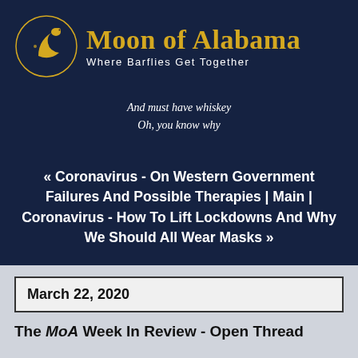[Figure (logo): Moon of Alabama website logo: crescent moon with bird figure, golden color on dark navy background, with site title 'Moon of Alabama' and subtitle 'Where Barflies Get Together']
And must have whiskey
Oh, you know why
« Coronavirus - On Western Government Failures And Possible Therapies | Main | Coronavirus - How To Lift Lockdowns And Why We Should All Wear Masks »
March 22, 2020
The MoA Week In Review - Open Thread